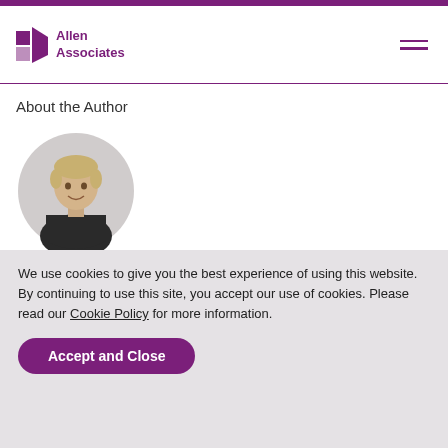Allen Associates
About the Author
[Figure (photo): Circular portrait photo of Kate Allen, a woman with short blonde hair wearing a black jacket, against a light grey background.]
Kate Allen
Managing Director, Allen Associates
We use cookies to give you the best experience of using this website. By continuing to use this site, you accept our use of cookies. Please read our Cookie Policy for more information.
Accept and Close